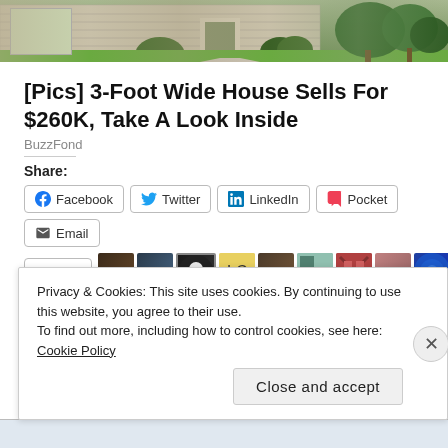[Figure (photo): Exterior photo of a house with green lawn, walkway, and shrubs]
[Pics] 3-Foot Wide House Sells For $260K, Take A Look Inside
BuzzFond
Share:
Facebook
Twitter
LinkedIn
Pocket
Email
70 bloggers like this.
Privacy & Cookies: This site uses cookies. By continuing to use this website, you agree to their use.
To find out more, including how to control cookies, see here: Cookie Policy
Close and accept